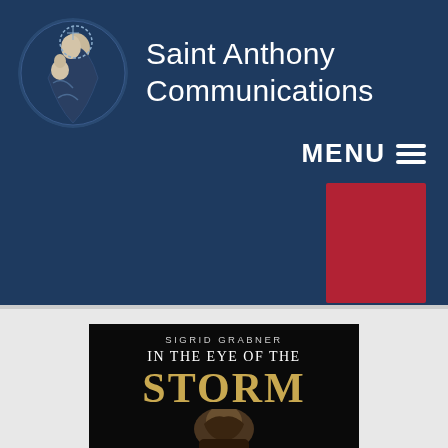[Figure (logo): Saint Anthony Communications logo: circular emblem showing Saint Anthony holding the Christ child, in blue and white illustration style]
Saint Anthony Communications
MENU
[Figure (other): Red rectangular block, possibly a book cover thumbnail or UI button element]
[Figure (photo): Book cover for 'In the Eye of the Storm' by Sigrid Grabner, black background with gold and white title text, portrait image of a person at bottom]